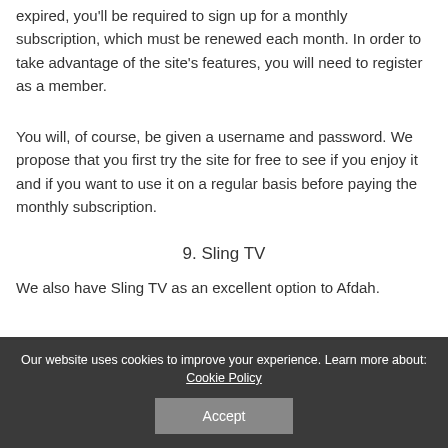expired, you'll be required to sign up for a monthly subscription, which must be renewed each month. In order to take advantage of the site's features, you will need to register as a member.
You will, of course, be given a username and password. We propose that you first try the site for free to see if you enjoy it and if you want to use it on a regular basis before paying the monthly subscription.
9. Sling TV
We also have Sling TV as an excellent option to Afdah.
Our website uses cookies to improve your experience. Learn more about: Cookie Policy